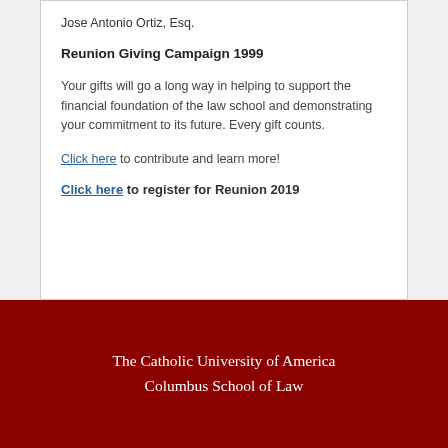Jose Antonio Ortiz, Esq.
Reunion Giving Campaign 1999
Your gifts will go a long way in helping to support the financial foundation of the law school and demonstrating your commitment to its future. Every gift counts.
Click here to contribute and learn more!
Click here to register for Reunion 2019
The Catholic University of America Columbus School of Law